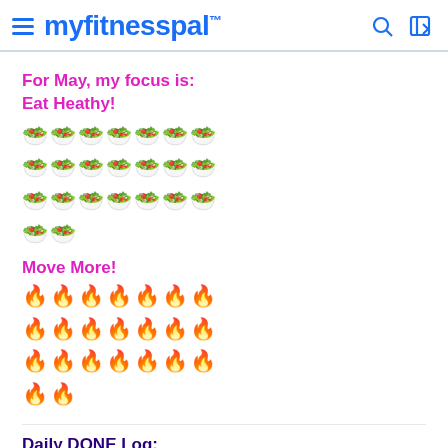myfitnesspal
For May, my focus is:
Eat Heathy!
[Figure (illustration): Three rows of 7 salad bowl emojis and one row of 2 salad bowl emojis, representing 23 days of eating healthy]
Move More!
[Figure (illustration): Three rows of 7 fire/dancer emojis and one row of 2 fire/dancer emojis, representing 23 days of moving more]
Daily DONE Log:
This is working so well. It's removed a lot of the negative vibes associated with perceived failures',